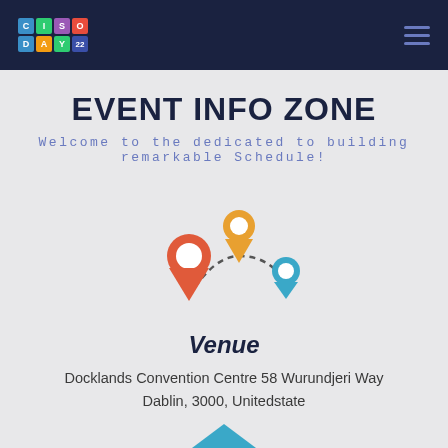CISO DAY 22
EVENT INFO ZONE
Welcome to the dedicated to building remarkable Schedule!
[Figure (illustration): Three location pin markers (red large, orange medium, blue small) connected by dashed curved lines, representing a route or event venue map graphic]
Venue
Docklands Convention Centre 58 Wurundjeri Way Dablin, 3000, Unitedstate
[Figure (illustration): Partial blue arrow shape visible at bottom of page]